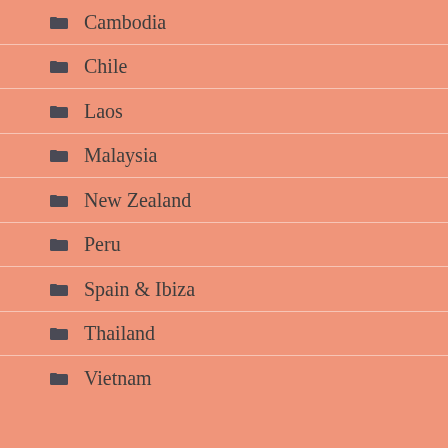Cambodia
Chile
Laos
Malaysia
New Zealand
Peru
Spain & Ibiza
Thailand
Vietnam